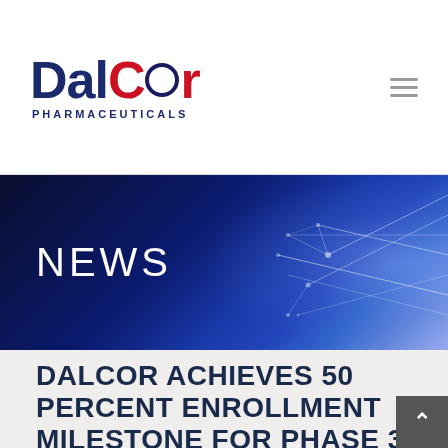[Figure (logo): DalCor Pharmaceuticals logo — 'Dal' in dark navy, 'Cor' in red with a circle-O, 'PHARMACEUTICALS' in navy small caps below]
DALCOR ACHIEVES 50 PERCENT ENROLLMENT MILESTONE FOR PHASE 3 CARDIOVASCULAR TRIAL — DALCETRAPIB
NEWS